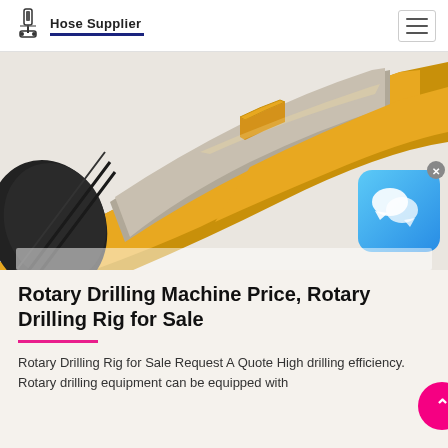Hose Supplier
[Figure (photo): Cross-section illustration of a rotary drilling hose showing internal layers. The hose is golden/yellow on the outside with a dark grey inner tube, revealing multiple internal reinforcement layers. The cut-away view shows the spiral wire reinforcement.]
Rotary Drilling Machine Price, Rotary Drilling Rig for Sale
Rotary Drilling Rig for Sale Request A Quote High drilling efficiency. Rotary drilling equipment can be equipped with